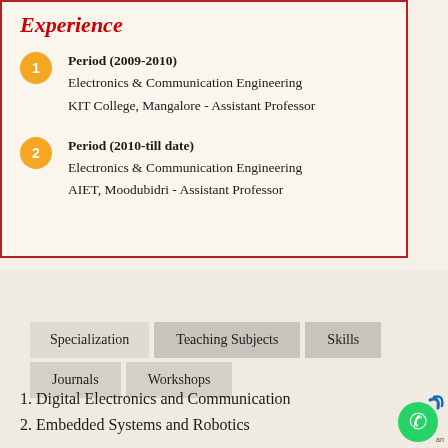Experience
Period (2009-2010)
Electronics & Communication Engineering
KIT College, Mangalore - Assistant Professor
Period (2010-till date)
Electronics & Communication Engineering
AIET, Moodubidri - Assistant Professor
Specialization  Teaching Subjects  Skills  Journals  Workshops
1. Digital Electronics and Communication
2. Embedded Systems and Robotics